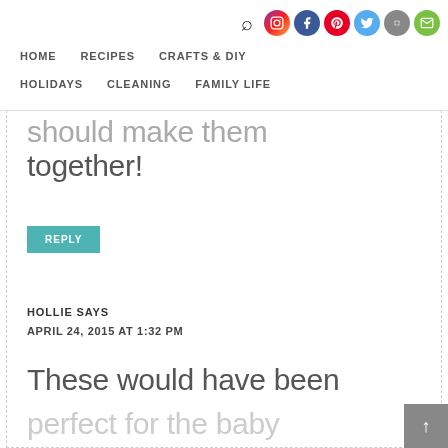HOME  RECIPES  CRAFTS & DIY  HOLIDAYS  CLEANING  FAMILY LIFE
should make them together!
REPLY
HOLLIE SAYS
APRIL 24, 2015 AT 1:32 PM
These would have been perfect for the baby